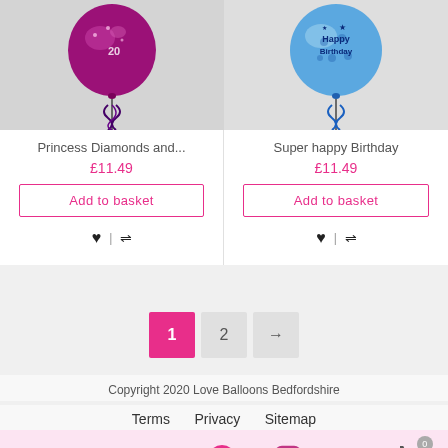[Figure (photo): Purple glitter balloon with ribbons - Princess Diamonds product]
Princess Diamonds and...
£11.49
Add to basket
[Figure (photo): Blue Happy Birthday balloon with ribbons - Super happy Birthday product]
Super happy Birthday
£11.49
Add to basket
1  2  →
Copyright 2020 Love Balloons Bedfordshire
Terms  Privacy  Sitemap